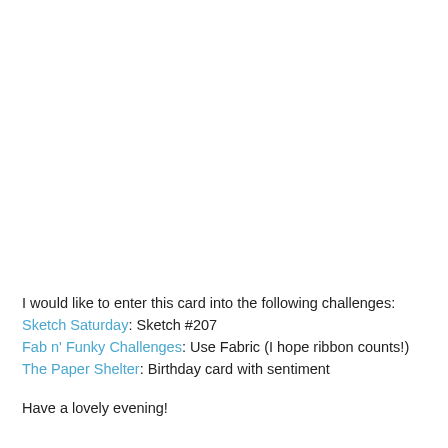I would like to enter this card into the following challenges:
Sketch Saturday: Sketch #207
Fab n' Funky Challenges: Use Fabric (I hope ribbon counts!)
The Paper Shelter: Birthday card with sentiment
Have a lovely evening!